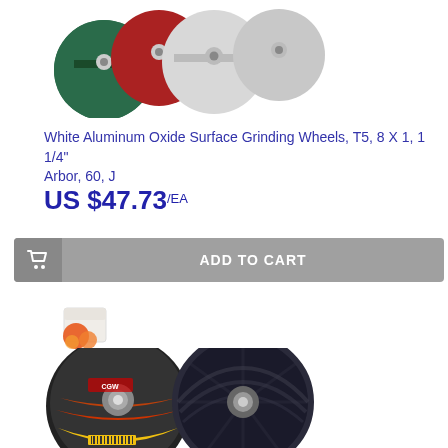[Figure (photo): Multiple abrasive grinding wheels shown from front/side angle - green, red, and white/grey wheels]
White Aluminum Oxide Surface Grinding Wheels, T5, 8 X 1, 1 1/4" Arbor, 60, J
US $47.73 /EA
[Figure (other): Add to Cart button with shopping cart icon]
[Figure (photo): Small logo/icon - orange and white box icon]
[Figure (photo): Two CGW brand flap discs/abrasive wheels - one showing face with yellow and orange label, one showing back side]